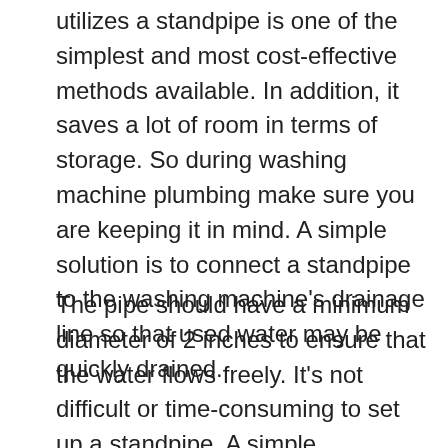utilizes a standpipe is one of the simplest and most cost-effective methods available. In addition, it saves a lot of room in terms of storage. So during washing machine plumbing make sure you are keeping it in mind. A simple solution is to connect a standpipe to the washing machine's drainage line so that used water may be quickly drained.
The pipe should have a minimum diameter of 2 inches to ensure that the water flows freely. It's not difficult or time-consuming to set up a standpipe. A simple understanding of plumbing is all that is required.